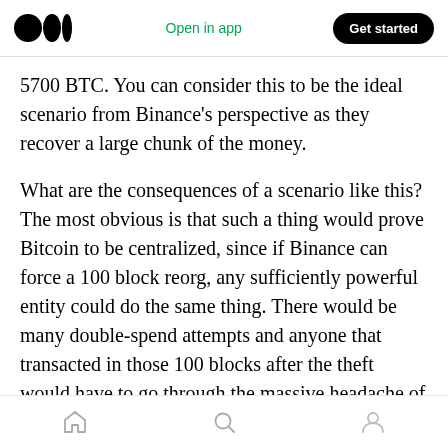Medium logo | Open in app | Get started
5700 BTC. You can consider this to be the ideal scenario from Binance’s perspective as they recover a large chunk of the money.
What are the consequences of a scenario like this? The most obvious is that such a thing would prove Bitcoin to be centralized, since if Binance can force a 100 block reorg, any sufficiently powerful entity could do the same thing. There would be many double-spend attempts and anyone that transacted in those 100 blocks after the theft would have to go through the massive headache of figuring out what happened. In fact
Home | Search | Profile